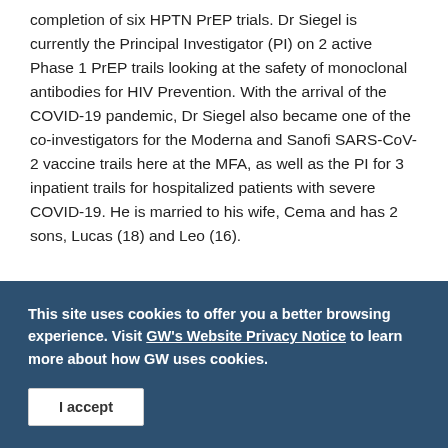completion of six HPTN PrEP trials. Dr Siegel is currently the Principal Investigator (PI) on 2 active Phase 1 PrEP trails looking at the safety of monoclonal antibodies for HIV Prevention. With the arrival of the COVID-19 pandemic, Dr Siegel also became one of the co-investigators for the Moderna and Sanofi SARS-CoV-2 vaccine trails here at the MFA, as well as the PI for 3 inpatient trails for hospitalized patients with severe COVID-19. He is married to his wife, Cema and has 2 sons, Lucas (18) and Leo (16).
This site uses cookies to offer you a better browsing experience. Visit GW's Website Privacy Notice to learn more about how GW uses cookies.
I accept